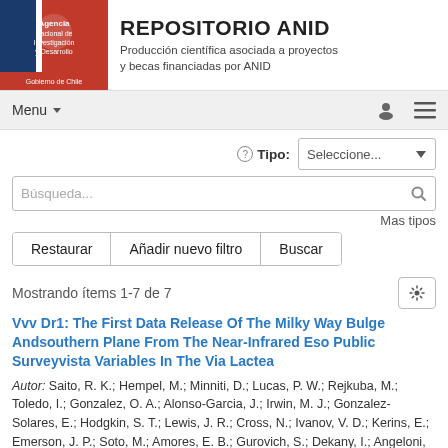REPOSITORIO ANID - Producción científica asociada a proyectos y becas financiadas por ANID
Menu
Tipo: Seleccione...
Búsqueda...
Mas tipos
Restaurar | Añadir nuevo filtro | Buscar
Mostrando ítems 1-7 de 7
Vvv Dr1: The First Data Release Of The Milky Way Bulge Andsouthern Plane From The Near-Infrared Eso Public Surveyvista Variables In The Via Lactea
Autor: Saito, R. K.; Hempel, M.; Minniti, D.; Lucas, P. W.; Rejkuba, M.; Toledo, I.; Gonzalez, O. A.; Alonso-Garcia, J.; Irwin, M. J.; Gonzalez-Solares, E.; Hodgkin, S. T.; Lewis, J. R.; Cross, N.; Ivanov, V. D.; Kerins, E.; Emerson, J. P.; Soto, M.; Amores, E. B.; Gurovich, S.; Dekany, I.; Angeloni, R.; Beamin, J. C.; Catelan, M.; Padilla, N.; Zoccali, M.